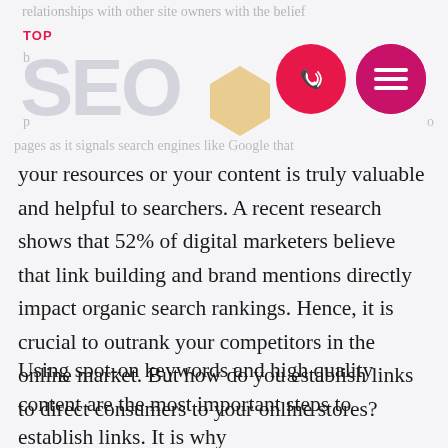relationships with other site owners with the belief
[Figure (logo): TOP SEO logo with stylized grey 'SEO' lettering and orange/gold geometric emblem, plus pink phone button and pink menu button]
pages as it signals search engines like Google that
your resources or your content is truly valuable and helpful to searchers. A recent research shows that 52% of digital marketers believe that link building and brand mentions directly impact organic search rankings. Hence, it is crucial to outrank your competitors in the online market. But how do you establish links to direct consumers to your online stores?
Using spot-on keywords and high quality content are the most important steps to establish links. It is why
...